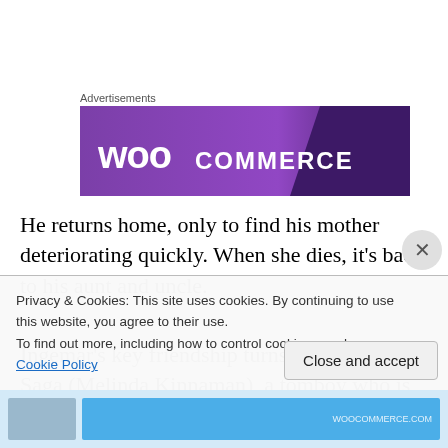Advertisements
[Figure (illustration): WooCommerce advertisement banner with purple gradient background showing 'woo' in large white letters and 'COMMERCE' in white letters]
He returns home, only to find his mother deteriorating quickly. When she dies, it's back to his aunt and uncle.
Ingemar's key friendship turns out to be with Saga (Melinda Kinnaman), a tomboy who is the best boxer and
Privacy & Cookies: This site uses cookies. By continuing to use this website, you agree to their use.
To find out more, including how to control cookies, see here: Cookie Policy
Close and accept